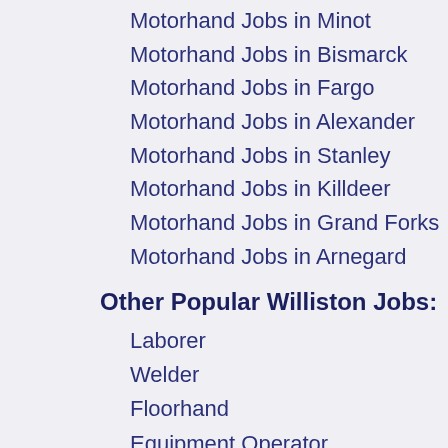Motorhand Jobs in Minot
Motorhand Jobs in Bismarck
Motorhand Jobs in Fargo
Motorhand Jobs in Alexander
Motorhand Jobs in Stanley
Motorhand Jobs in Killdeer
Motorhand Jobs in Grand Forks
Motorhand Jobs in Arnegard
Other Popular Williston Jobs:
Laborer
Welder
Floorhand
Equipment Operator
Labourer
General Labor
Electrician